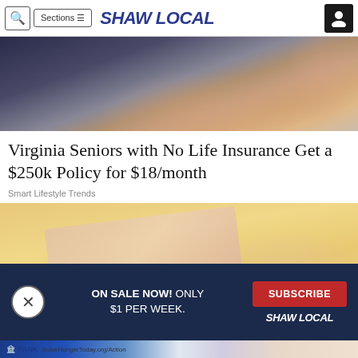Shaw Local — Q | Sections
[Figure (photo): Close-up photo of a hand holding something, dark tones with skin tones]
Virginia Seniors with No Life Insurance Get a $250k Policy for $18/month
Smart Lifestyle Trends
[Figure (photo): Close-up photo of a hand with a bandage on yellow/warm background]
ON SALE NOW! ONLY $1 PER WEEK.
SUBSCRIBE  SHAW LOCAL
BANK  SolveHungerToday.org/Action